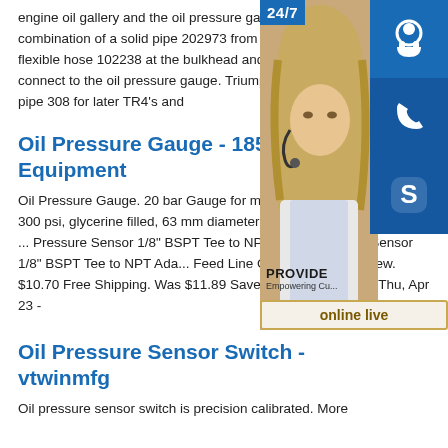engine oil gallery and the oil pressure gauge. TR's 2-4 use a combination of a solid pipe 202973 from the oil filter housing, a flexible hose 102238 at the bulkhead and solid pipe 200646 to connect to the oil pressure gauge. Triumph listed an alternative nylon pipe 308 for later TR4's and
[Figure (photo): Customer support overlay widget showing a woman with headset, icons for chat/phone/Skype, 24/7 badge, PROVIDE Empowering Cu... label, and online live button]
Oil Pressure Gauge - 185... Equipment
Oil Pressure Gauge. 20 bar Gauge for measu... and air pressure, 0 - 300 psi, glycerine filled, 63 mm diameter dial, 1/8" BSP bottom entry ... Pressure Sensor 1/8" BSPT Tee to NPT Ada... Pressure Sensor 1/8" BSPT Tee to NPT Ada... Feed Line Gauge. Condition:New. $10.70 Free Shipping. Was $11.89 Save 10%. Est. Delivery Thu, Apr 23 -
Oil Pressure Sensor Switch - vtwinmfg
Oil pressure sensor switch is precision calibrated. More